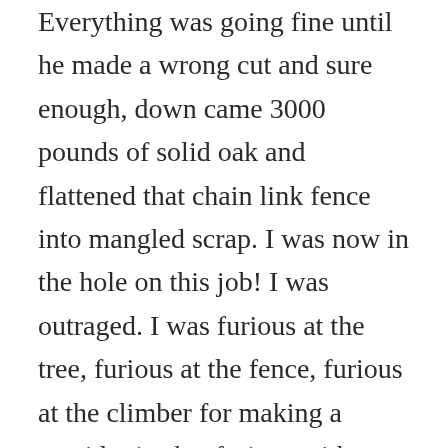Everything was going fine until he made a wrong cut and sure enough, down came 3000 pounds of solid oak and flattened that chain link fence into mangled scrap. I was now in the hole on this job! I was outraged. I was furious at the tree, furious at the fence, furious at the climber for making a stupid mistake, furious with myself for starting a business, furious at the birds for singing – you get the picture. Angrily I ordered my son and the climber to go to Lowe's and buy the materials needed to repair the destroyed section of fence. Three